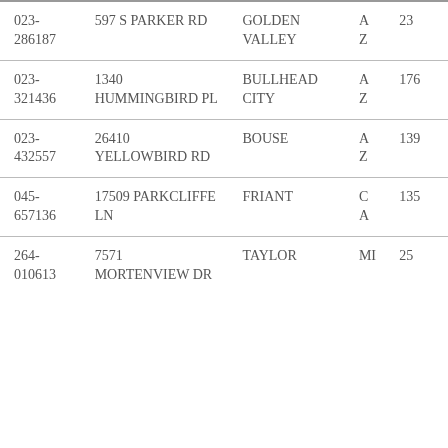| 023-286187 | 597 S PARKER RD | GOLDEN VALLEY | AZ | 23 |
| 023-321436 | 1340 HUMMINGBIRD PL | BULLHEAD CITY | AZ | 176 |
| 023-432557 | 26410 YELLOWBIRD RD | BOUSE | AZ | 139 |
| 045-657136 | 17509 PARKCLIFFE LN | FRIANT | CA | 135 |
| 264-010613 | 7571 MORTENVIEW DR | TAYLOR | MI | 25 |